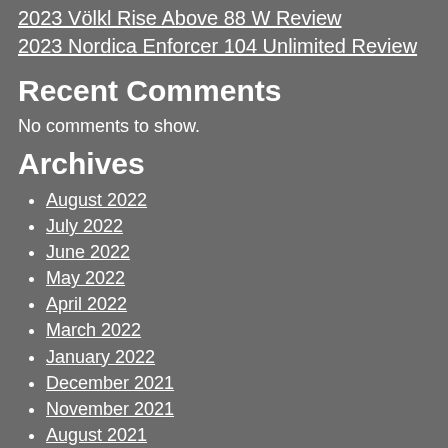2023 Völkl Rise Above 88 W Review
2023 Nordica Enforcer 104 Unlimited Review
Recent Comments
No comments to show.
Archives
August 2022
July 2022
June 2022
May 2022
April 2022
March 2022
January 2022
December 2021
November 2021
August 2021
February 2021
October 2020
September 2020
April 2020